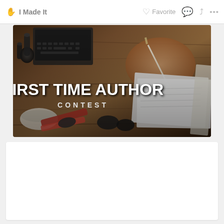✋ I Made It   ♡ Favorite   💬   ⤴   ...
[Figure (photo): Banner image showing a wooden desk with tools (scissors, bottles, pen, keyboard) and a person writing with a quill or pen. Bold text overlay reads 'FIRST TIME AUTHOR CONTEST']
FIRST TIME AUTHOR
CONTEST